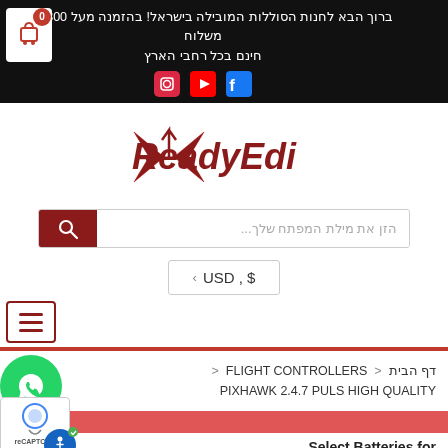ברוך הבא לחנות הסוללות המובילה בישראל! בהזמנה מעל 300 ש"ח - משלוח חינם בכל רחבי הארץ
[Figure (logo): ReadyEdi logo with stylized red W/arrow symbol and red italic ReadyEdi text]
הזן את מילת המפתח שלך...
USD , $
דף הבית < FLIGHT CONTROLLERS < PIXHAWK 2.4.7 PULS HIGH QUALITY
Select Batteries for